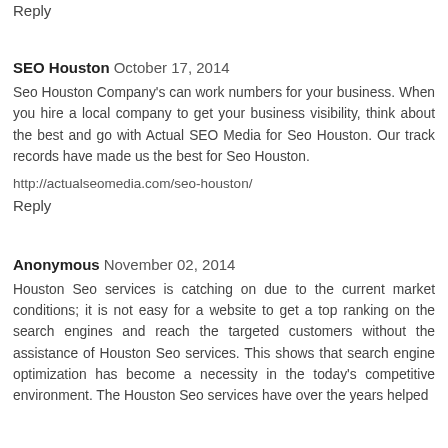Reply
SEO Houston  October 17, 2014
Seo Houston Company's can work numbers for your business. When you hire a local company to get your business visibility, think about the best and go with Actual SEO Media for Seo Houston. Our track records have made us the best for Seo Houston.
http://actualseomedia.com/seo-houston/
Reply
Anonymous  November 02, 2014
Houston Seo services is catching on due to the current market conditions; it is not easy for a website to get a top ranking on the search engines and reach the targeted customers without the assistance of Houston Seo services. This shows that search engine optimization has become a necessity in the today's competitive environment. The Houston Seo services have over the years helped